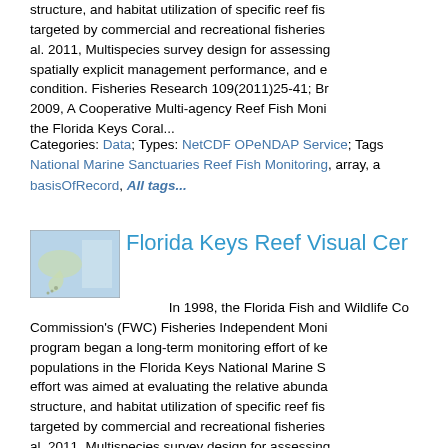structure, and habitat utilization of specific reef fis... targeted by commercial and recreational fisheries... al. 2011, Multispecies survey design for assessing... spatially explicit management performance, and e... condition. Fisheries Research 109(2011)25-41; Br... 2009, A Cooperative Multi-agency Reef Fish Moni... the Florida Keys Coral...
Categories: Data; Types: NetCDF OPeNDAP Service; Tags: National Marine Sanctuaries Reef Fish Monitoring, array, a... basisOfRecord, All tags...
Florida Keys Reef Visual Ce...
In 1998, the Florida Fish and Wildlife Co... Commission's (FWC) Fisheries Independent Moni... program began a long-term monitoring effort of ke... populations in the Florida Keys National Marine S... effort was aimed at evaluating the relative abunda... structure, and habitat utilization of specific reef fis... targeted by commercial and recreational fisheries... al. 2011, Multispecies survey design for assessing... spatially explicit management performance, and e... condition. Fisheries Research 109(2011)25-41; Br... 2009, A Cooperative Multi-agency Reef Fish Moni...